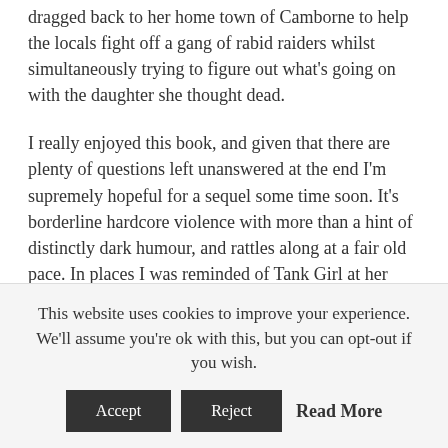dragged back to her home town of Camborne to help the locals fight off a gang of rabid raiders whilst simultaneously trying to figure out what's going on with the daughter she thought dead.
I really enjoyed this book, and given that there are plenty of questions left unanswered at the end I'm supremely hopeful for a sequel some time soon. It's borderline hardcore violence with more than a hint of distinctly dark humour, and rattles along at a fair old pace. In places I was reminded of Tank Girl at her best, but with a twist of some of the edgier elements of cyberpunk thrown in for good measure. All in all a fun read and one I would
This website uses cookies to improve your experience. We'll assume you're ok with this, but you can opt-out if you wish.
Accept   Reject   Read More